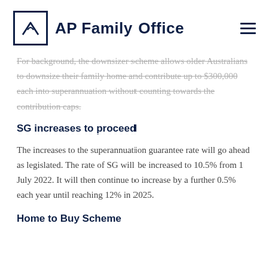AP Family Office
For background, the downsizer scheme allows older Australians to downsize their family home and contribute up to $300,000 each into superannuation without counting towards the contribution caps.
SG increases to proceed
The increases to the superannuation guarantee rate will go ahead as legislated. The rate of SG will be increased to 10.5% from 1 July 2022. It will then continue to increase by a further 0.5% each year until reaching 12% in 2025.
Home to Buy Scheme